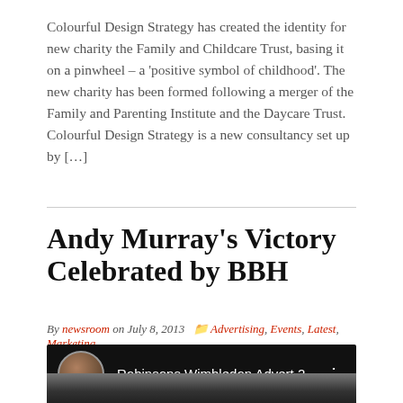Colourful Design Strategy has created the identity for new charity the Family and Childcare Trust, basing it on a pinwheel – a 'positive symbol of childhood'. The new charity has been formed following a merger of the Family and Parenting Institute and the Daycare Trust. Colourful Design Strategy is a new consultancy set up by […]
Andy Murray's Victory Celebrated by BBH
By newsroom on July 8, 2013   Advertising, Events, Latest, Marketing
[Figure (screenshot): YouTube video thumbnail showing 'Robinsons Wimbledon Advert 2...' with a circular avatar icon on dark background, and a blurred video frame below showing a person wearing a blue headband]